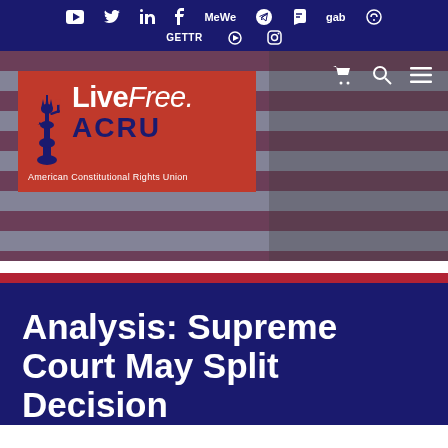Social media icons: YouTube, Twitter, LinkedIn, Facebook, MeWe, Telegram, Parler, Gab, GETTR, Rumble, Instagram
[Figure (logo): LiveFree. ACRU — American Constitutional Rights Union logo on red background with Statue of Liberty silhouette, overlaid on an American flag hero image with shopping cart, search, and menu icons]
Analysis: Supreme Court May Split Decision